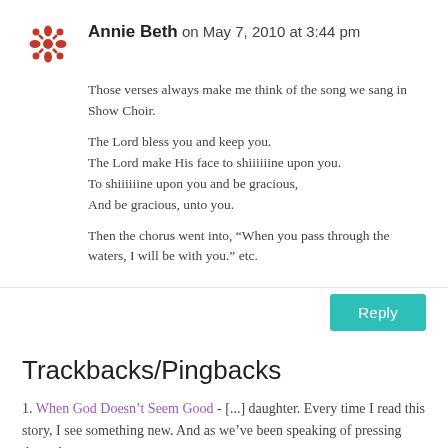[Figure (logo): Red floral/snowflake avatar icon for user Annie Beth]
Annie Beth on May 7, 2010 at 3:44 pm
Those verses always make me think of the song we sang in Show Choir.
The Lord bless you and keep you.
The Lord make His face to shiiiiiine upon you.
To shiiiiiine upon you and be gracious,
And be gracious, unto you.
Then the chorus went into, “When you pass through the waters, I will be with you.” etc.
Reply
Trackbacks/Pingbacks
1. When God Doesn’t Seem Good - [...] daughter. Every time I read this story, I see something new. And as we’ve been speaking of pressing through...